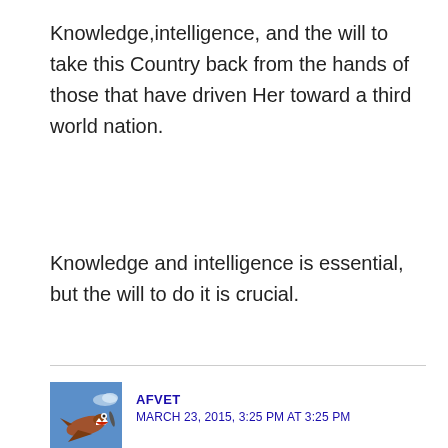Knowledge,intelligence, and the will to take this Country back from the hands of those that have driven Her toward a third world nation.
Knowledge and intelligence is essential, but the will to do it is crucial.
[Figure (photo): Avatar image of a fighter aircraft with shark mouth nose art on blue sky background]
AFVET
MARCH 23, 2015, 3:25 PM AT 3:25 PM